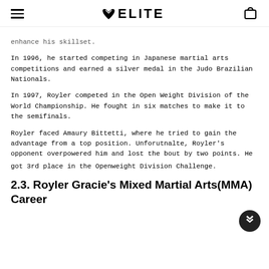≡ 🦅ELITE 🛍
enhance his skillset.
In 1996, he started competing in Japanese martial arts competitions and earned a silver medal in the Judo Brazilian Nationals.
In 1997, Royler competed in the Open Weight Division of the World Championship. He fought in six matches to make it to the semifinals.
Royler faced Amaury Bittetti, where he tried to gain the advantage from a top position. Unforutnalte, Royler's opponent overpowered him and lost the bout by two points. He got 3rd place in the Openweight Division Challenge.
2.3. Royler Gracie's Mixed Martial Arts(MMA) Career